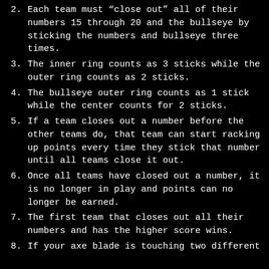2. Each team must “close out” all of their numbers 15 through 20 and the bullseye by sticking the numbers and bullseye three times.
3. The inner ring counts as 3 sticks while the outer ring counts as 2 sticks.
4. The bullseye outer ring counts as 1 stick while the center counts for 2 sticks.
5. If a team closes out a number before the other teams do, that team can start racking up points every time they stick that number until all teams close it out.
6. Once all teams have closed out a number, it is no longer in play and points can no longer be earned.
7. The first team that closes out all their numbers and has the higher score wins.
8. If your axe blade is touching two different numbers, count the higher...